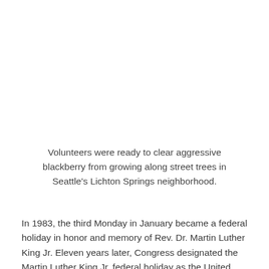Volunteers were ready to clear aggressive blackberry from growing along street trees in Seattle's Lichton Springs neighborhood.
In 1983, the third Monday in January became a federal holiday in honor and memory of Rev. Dr. Martin Luther King Jr. Eleven years later, Congress designated the Martin Luther King Jr. federal holiday as the United States' first and only National Day of Service. Integral to